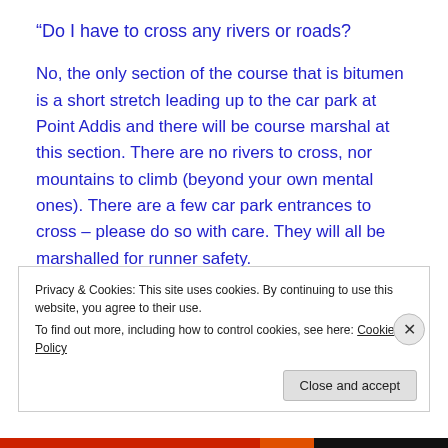“Do I have to cross any rivers or roads?
No, the only section of the course that is bitumen is a short stretch leading up to the car park at Point Addis and there will be course marshal at this section. There are no rivers to cross, nor mountains to climb (beyond your own mental ones). There are a few car park entrances to cross – please do so with care. They will all be marshalled for runner safety.
What about beach sections?
Privacy & Cookies: This site uses cookies. By continuing to use this website, you agree to their use.
To find out more, including how to control cookies, see here: Cookie Policy
Close and accept